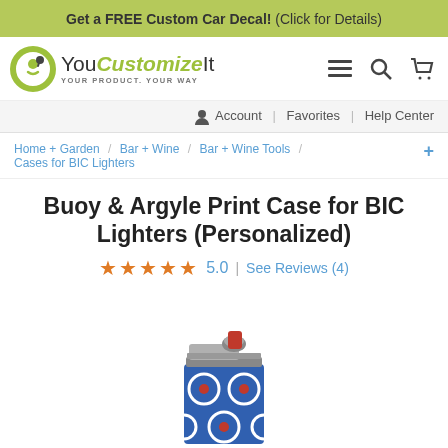Get a FREE Custom Car Decal! (Click for Details)
[Figure (logo): YouCustomizeIt logo with green circle icon and text YOUR PRODUCT. YOUR WAY]
Account | Favorites | Help Center
Home + Garden / Bar + Wine / Bar + Wine Tools / + Cases for BIC Lighters
Buoy & Argyle Print Case for BIC Lighters (Personalized)
★★★★★ 5.0 | See Reviews (4)
[Figure (photo): Photo of a BIC lighter with a blue buoy/argyle print case showing red and white life preserver rings on a blue background]